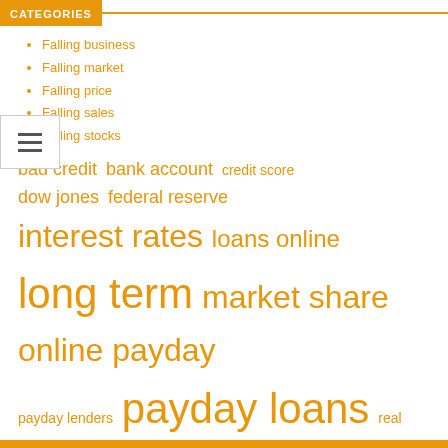CATEGORIES
Falling business
Falling market
Falling price
Falling sales
Falling stocks
[Figure (infographic): Tag cloud with finance-related keywords in various sizes, all in orange. Larger text indicates higher frequency/importance: 'interest rates', 'long term', 'payday loans', 'online payday', 'united states', 'short term', 'stock market' are among the largest. Smaller tags include 'bad credit', 'bank account', 'credit score', 'dow jones', 'federal reserve', 'loans online', 'market share', 'payday lenders', 'real estate'.]